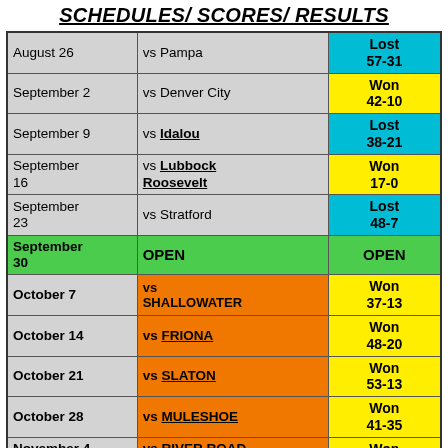SCHEDULES/ SCORES/ RESULTS
| Date | Opponent | Result |
| --- | --- | --- |
| August 26 | vs Pampa | Lost 57-31 |
| September 2 | vs Denver City | Won 42-10 |
| September 9 | vs Idalou | Lost 38-21 |
| September 16 | vs Lubbock Roosevelt | Won 17-0 |
| September 23 | vs Stratford | Lost 48-7 |
| September 30 | OPEN | OPEN |
| October 7 | vs SHALLOWATER | Won 37-13 |
| October 14 | vs FRIONA | Won 48-20 |
| October 21 | vs SLATON | Won 53-13 |
| October 28 | vs MULESHOE | Won 41-35 |
| November 4 | vs RIVER ROAD | Won |